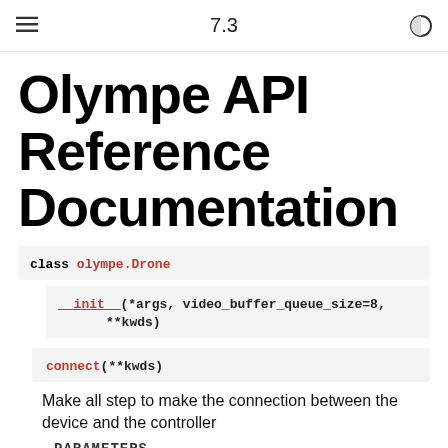7.3
Olympe API Reference Documentation
class olympe.Drone
__init__(*args, video_buffer_queue_size=8, **kwds)
connect(**kwds)
Make all step to make the connection between the device and the controller
PARAMETERS